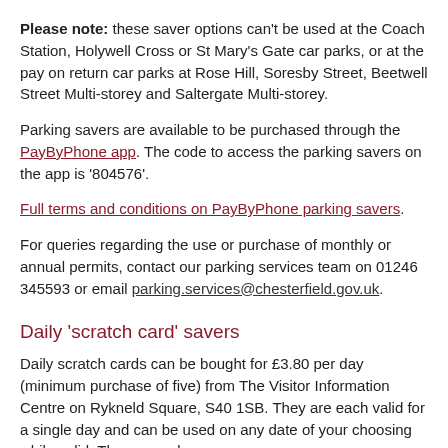Please note: these saver options can't be used at the Coach Station, Holywell Cross or St Mary's Gate car parks, or at the pay on return car parks at Rose Hill, Soresby Street, Beetwell Street Multi-storey and Saltergate Multi-storey.
Parking savers are available to be purchased through the PayByPhone app. The code to access the parking savers on the app is '804576'.
Full terms and conditions on PayByPhone parking savers.
For queries regarding the use or purchase of monthly or annual permits, contact our parking services team on 01246 345593 or email parking.services@chesterfield.gov.uk.
Daily 'scratch card' savers
Daily scratch cards can be bought for £3.80 per day (minimum purchase of five) from The Visitor Information Centre on Rykneld Square, S40 1SB. They are each valid for a single day and can be used on any date of your choosing while valid. They are only